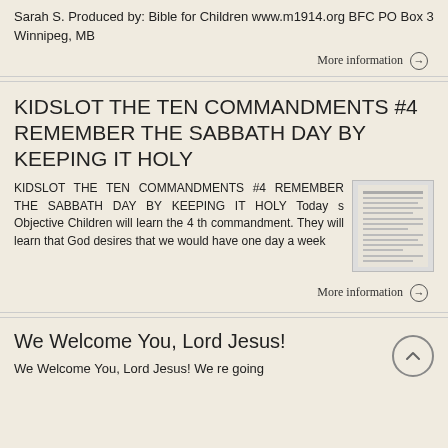Sarah S. Produced by: Bible for Children www.m1914.org BFC PO Box 3 Winnipeg, MB
More information →
KIDSLOT THE TEN COMMANDMENTS #4 REMEMBER THE SABBATH DAY BY KEEPING IT HOLY
KIDSLOT THE TEN COMMANDMENTS #4 REMEMBER THE SABBATH DAY BY KEEPING IT HOLY Today s Objective Children will learn the 4 th commandment. They will learn that God desires that we would have one day a week
More information →
We Welcome You, Lord Jesus!
We Welcome You, Lord Jesus! We re going